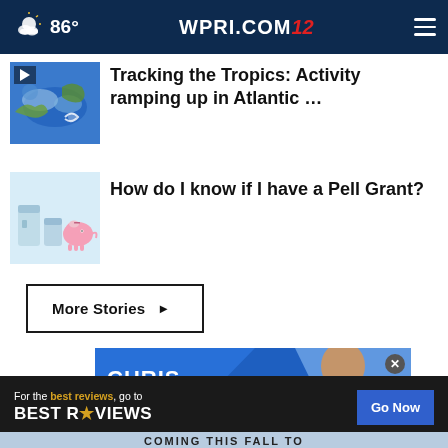86° WPRI.COM 12
Tracking the Tropics: Activity ramping up in Atlantic …
How do I know if I have a Pell Grant?
More Stories ▶
[Figure (photo): Chris Cuomo promotional advertisement on blue diagonal background]
[Figure (advertisement): BestReviews banner advertisement: 'For the best reviews, go to BESTREVIEWS — Go Now']